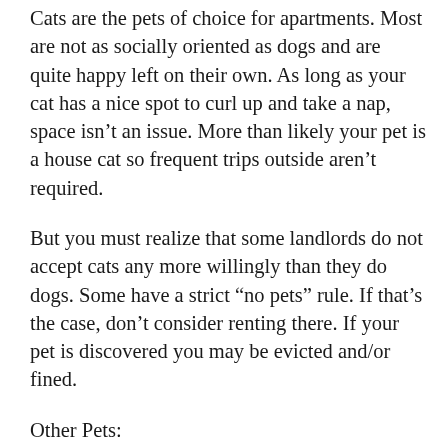Cats are the pets of choice for apartments. Most are not as socially oriented as dogs and are quite happy left on their own. As long as your cat has a nice spot to curl up and take a nap, space isn't an issue. More than likely your pet is a house cat so frequent trips outside aren't required.
But you must realize that some landlords do not accept cats any more willingly than they do dogs. Some have a strict “no pets” rule. If that’s the case, don’t consider renting there. If your pet is discovered you may be evicted and/or fined.
Other Pets:
“Pocket pets” such as fish, birds, and reptiles usually don’t pose a problem when it comes to